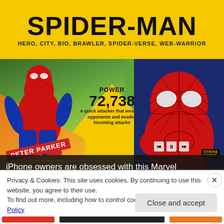SPIDER-MAN
HERO, CITY, BIO, BRAWLER, SPIDER-VERSE, WEB-WARRIOR
[Figure (screenshot): Marvel Strike Force game card for Spider-Man (Peter Parker). Comic-book style artwork shows two versions of Spider-Man — an animated/comic style on the left and a realistic movie version on the right — on a yellow-green background with power stat: POWER 72,738. Text reads: A quick attacker that weakens opponents and evades incoming attacks. Media player controls visible bottom right with Strike Force logo.]
iPhone owners are obsessed with this Marvel
Privacy & Cookies: This site uses cookies. By continuing to use this website, you agree to their use.
To find out more, including how to control cookies, see here: Cookie Policy
Close and accept